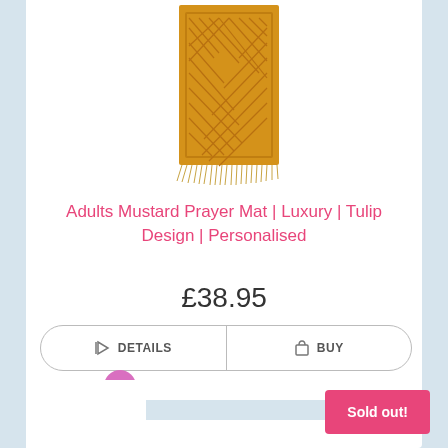[Figure (photo): Mustard yellow prayer mat with diamond/chevron quilted pattern and fringe at the bottom, photographed on white background]
Adults Mustard Prayer Mat | Luxury | Tulip Design | Personalised
£38.95
DETAILS  BUY
0
[Figure (illustration): Shopping basket icon]
Sold out!